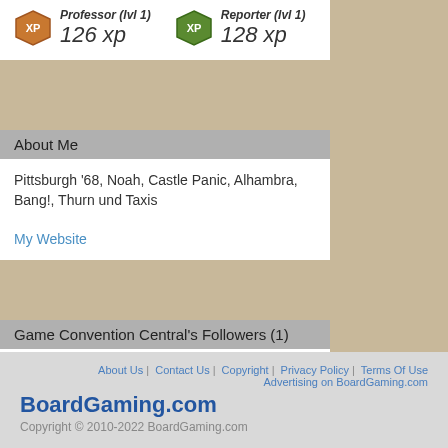Professor (lvl 1) 126 xp | Reporter (lvl 1) 128 xp
About Me
Pittsburgh ’68, Noah, Castle Panic, Alhambra, Bang!, Thurn und Taxis
My Website
Game Convention Central's Followers (1)
[Figure (photo): Small thumbnail photo of a follower user]
About Us | Contact Us | Copyright | Privacy Policy | Terms Of Use | Advertising on BoardGaming.com
BoardGaming.com
Copyright © 2010-2022 BoardGaming.com